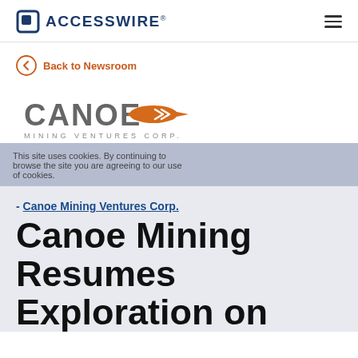ACCESSWIRE®
Back to Newsroom
[Figure (logo): Canoe Mining Ventures Corp. logo — gray text CANOE with orange paddle graphic, subtitle MINING VENTURES CORP.]
Canoe Mining Ventures Corp.
Canoe Mining Resumes Exploration on